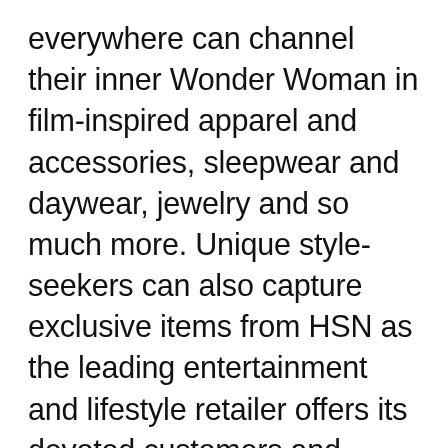everywhere can channel their inner Wonder Woman in film-inspired apparel and accessories, sleepwear and daywear, jewelry and so much more. Unique style-seekers can also capture exclusive items from HSN as the leading entertainment and lifestyle retailer offers its devoted customers and Wonder Woman fans a unique collection of apparel and accessories, jewelry, personal care products and more, including a special collection, exclusive to this